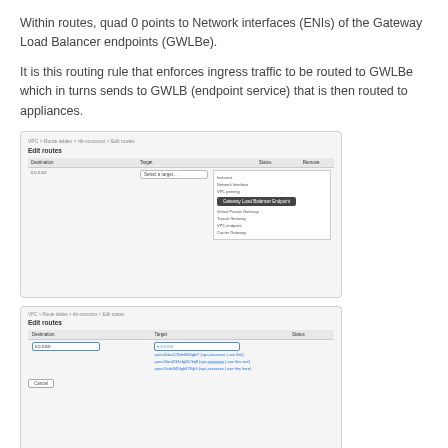Within routes, quad 0 points to Network interfaces (ENIs) of the Gateway Load Balancer endpoints (GWLBe).
It is this routing rule that enforces ingress traffic to be routed to GWLBe which in turns sends to GWLB (endpoint service) that is then routed to appliances.
[Figure (screenshot): AWS console screenshot showing Edit routes interface with a dropdown panel open for selecting route target type]
[Figure (screenshot): AWS console screenshot showing Edit routes interface with a target dropdown showing GWLB endpoint options with blue highlighted selection and links]
Limitations
Target group using the GENEVE protocol does not support tags.
[Figure (screenshot): AWS console screenshot showing Register targets interface with a red error bar at the top]